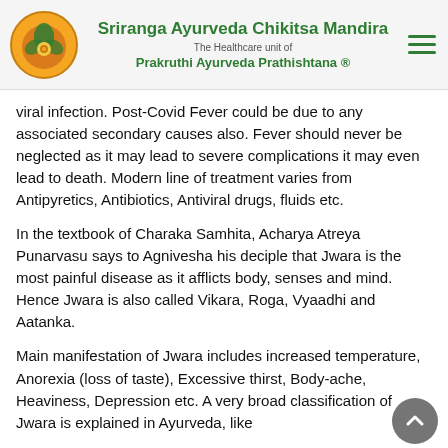[Figure (logo): Sriranga Ayurveda Chikitsa Mandira logo with circular orange emblem and green text header showing organization name and tagline]
viral infection. Post-Covid Fever could be due to any associated secondary causes also. Fever should never be neglected as it may lead to severe complications it may even lead to death. Modern line of treatment varies from Antipyretics, Antibiotics, Antiviral drugs, fluids etc.
In the textbook of Charaka Samhita, Acharya Atreya Punarvasu says to Agnivesha his deciple that Jwara is the most painful disease as it afflicts body, senses and mind. Hence Jwara is also called Vikara, Roga, Vyaadhi and Aatanka.
Main manifestation of Jwara includes increased temperature, Anorexia (loss of taste), Excessive thirst, Body-ache, Heaviness, Depression etc. A very broad classification of Jwara is explained in Ayurveda, like